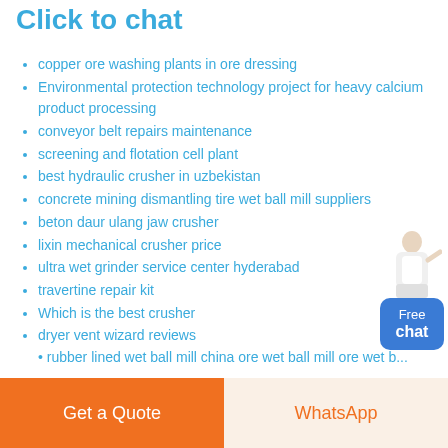Click to chat
copper ore washing plants in ore dressing
Environmental protection technology project for heavy calcium product processing
conveyor belt repairs maintenance
screening and flotation cell plant
best hydraulic crusher in uzbekistan
concrete mining dismantling tire wet ball mill suppliers
beton daur ulang jaw crusher
lixin mechanical crusher price
ultra wet grinder service center hyderabad
travertine repair kit
Which is the best crusher
dryer vent wizard reviews
[Figure (illustration): Chat widget showing a person in white lab coat with a blue Free chat button]
(partial line cut off at bottom)
Get a Quote | WhatsApp